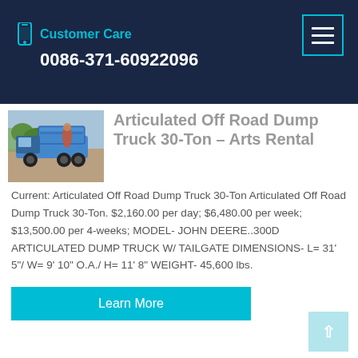Customer Care
0086-371-60922096
[Figure (photo): Blue dump truck (articulated off-road dump truck) parked outdoors on a dirt/gravel surface]
Articulated Off Road Dump Truck 30-Ton – Arts Rental
Current: Articulated Off Road Dump Truck 30-Ton Articulated Off Road Dump Truck 30-Ton. $2,160.00 per day; $6,480.00 per week; $13,500.00 per 4-weeks; MODEL- JOHN DEERE..300D ARTICULATED DUMP TRUCK W/ TAILGATE DIMENSIONS- L= 31' 5"/ W= 9' 10" O.A./ H= 11' 8" WEIGHT- 45,600 lbs.
Learn More